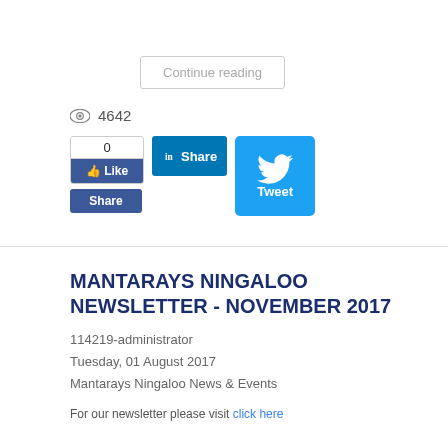Continue reading
4642
[Figure (screenshot): Social sharing buttons: Facebook Like (0), LinkedIn Share, Tweet]
MANTARAYS NINGALOO NEWSLETTER - NOVEMBER 2017
114219-administrator
Tuesday, 01 August 2017
Mantarays Ningaloo News & Events
For our newsletter please visit click here